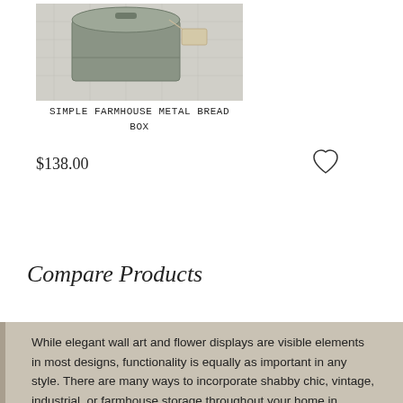[Figure (photo): Product photo of a Simple Farmhouse Metal Bread Box, showing a metal bread box on a white/grey textile background]
SIMPLE FARMHOUSE METAL BREAD BOX
$138.00
Compare Products
While elegant wall art and flower displays are visible elements in most designs, functionality is equally as important in any style. There are many ways to incorporate shabby chic, vintage, industrial, or farmhouse storage throughout your home in beautifu